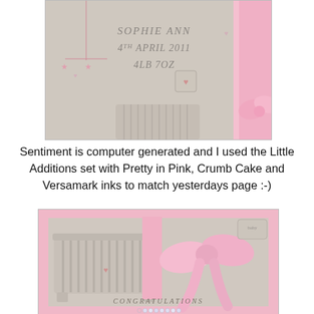[Figure (photo): Close-up of a handmade baby card showing text 'SOPHIE ANN 4TH APRIL 2011 4LB 7OZ' on a beige/kraft background with pink ribbon decorations, star mobile, and decorative elements]
Sentiment is computer generated and I used the Little Additions set with Pretty in Pink, Crumb Cake and Versamark inks to match yesterdays page :-)
[Figure (photo): Close-up of a handmade baby card showing a kraft paper crib/cot die-cut, large pink satin bow, pink polka-dot border, and 'CONGRATULATIONS' text with rhinestone embellishment]